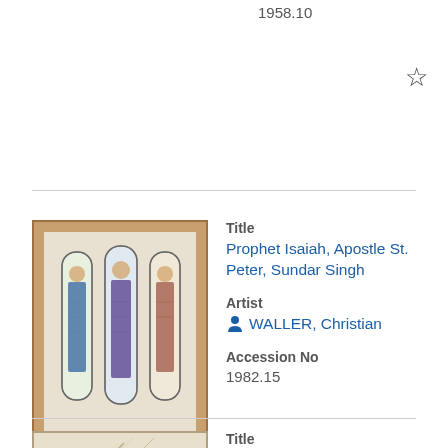1958.10
☆
Title
Prophet Isaiah, Apostle St. Peter, Sundar Singh

Artist
WALLER, Christian

Accession No
1982.15
[Figure (photo): Framed stained glass artwork showing three tall arched panels with figures, in a wooden frame against a light background]
☆
Title